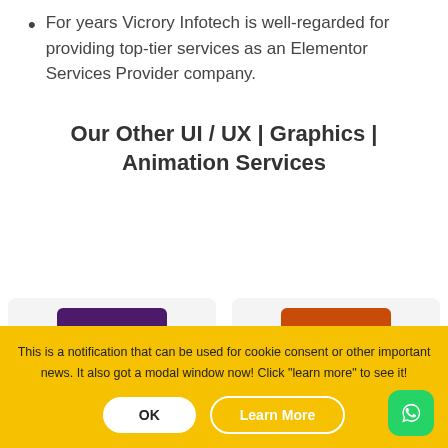For years Vicrory Infotech is well-regarded for providing top-tier services as an Elementor Services Provider company.
Our Other UI / UX | Graphics | Animation Services
[Figure (illustration): Two partial card previews visible at the bottom of the content area, one with a purple banner and one with an orange banner, representing service categories.]
This is a notification that can be used for cookie consent or other important news. It also got a modal window now! Click "learn more" to see it!